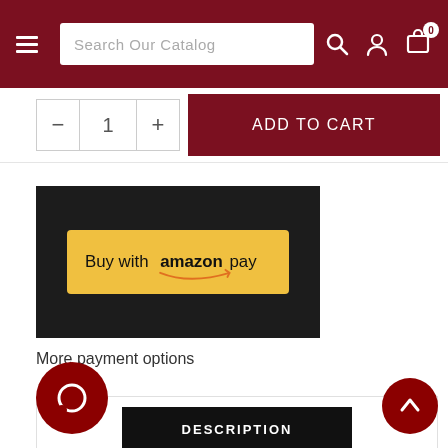Search Our Catalog
ADD TO CART
[Figure (screenshot): Buy with amazon pay button on dark background]
More payment options
DESCRIPTION
REFUND POLICY
|  | Shadows over Innistrad |
| --- | --- |
| Type | Land |
[Figure (other): Chat bubble icon - dark red circle with white chat icon]
[Figure (other): Scroll to top button - dark red circle with white up arrow]